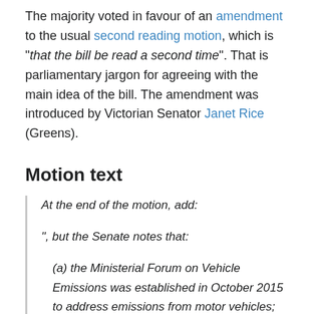The majority voted in favour of an amendment to the usual second reading motion, which is "that the bill be read a second time". That is parliamentary jargon for agreeing with the main idea of the bill. The amendment was introduced by Victorian Senator Janet Rice (Greens).
Motion text
At the end of the motion, add:
", but the Senate notes that:
(a) the Ministerial Forum on Vehicle Emissions was established in October 2015 to address emissions from motor vehicles;